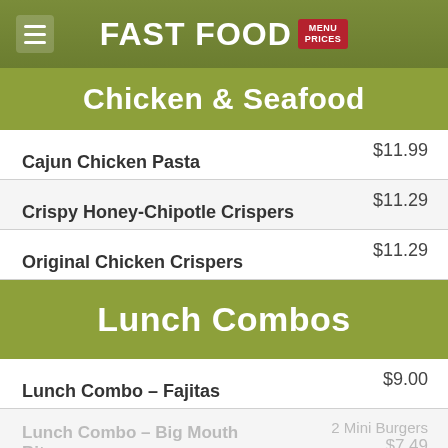FAST FOOD MENU PRICES
Chicken & Seafood
Cajun Chicken Pasta $11.99
Crispy Honey-Chipotle Crispers $11.29
Original Chicken Crispers $11.29
Lunch Combos
Lunch Combo – Fajitas $9.00
Lunch Combo – Big Mouth Bites  2 Mini Burgers $7.49